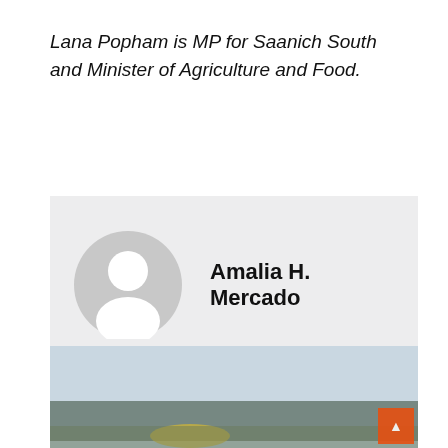Lana Popham is MP for Saanich South and Minister of Agriculture and Food.
Amalia H. Mercado
[Figure (other): Navigation buttons: Prev (left, orange) and Next (right, orange)]
[Figure (photo): Blurred landscape photo with trees and sky at the bottom of the page]